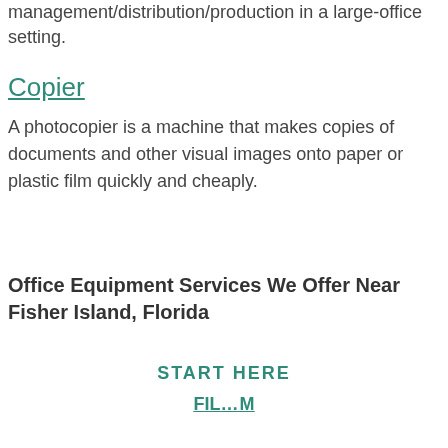management/distribution/production in a large-office setting.
Copier
A photocopier is a machine that makes copies of documents and other visual images onto paper or plastic film quickly and cheaply.
Office Equipment Services We Offer Near Fisher Island, Florida
START HERE
FIL...M
[Figure (screenshot): Chat popup widget with message 'How can we help you?', red notification badge showing 1, close button, and female avatar photo]